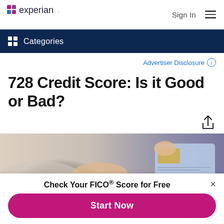Experian — Sign In
Categories
Advertiser Disclosure ℹ
728 Credit Score: Is it Good or Bad?
[Figure (photo): Person holding a credit card, close-up of hand and card]
Check Your FICO® Score for Free
Start Now